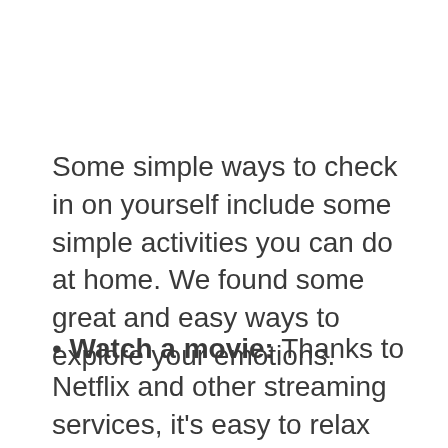Some simple ways to check in on yourself include some simple activities you can do at home. We found some great and easy ways to explore your emotions.
Watch a movie: Thanks to Netflix and other streaming services, it's easy to relax with a new film or a treasured favorite. As you watch that film, think about